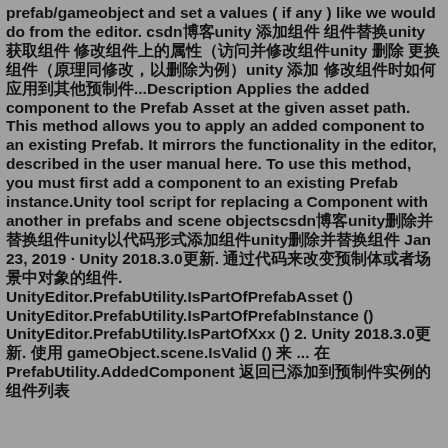prefab/gameobject and set a values ( if any ) like we would do from the editor. csdn博客unity 添加组件 组件替换unity 获取组件 修改组件上的属性（访问并修改组件unity 删除 更换组件（原理同修改，以删除为例）unity 添加 修改组件时如何应用到其他预制件...Description Applies the added component to the Prefab Asset at the given asset path. This method allows you to apply an added component to an existing Prefab. It mirrors the functionality in the editor, described in the user manual here. To use this method, you must first add a component to an existing Prefab instance.Unity tool script for replacing a Component with another in prefabs and scene objectscsdn博客unity删除并替换组件unity以代码形式添加组件unity删除并替换组件 Jan 23, 2019 · Unity 2018.3.0更新. 通过代码来改变预制体或者场景中对象的组件. UnityEditor.PrefabUtility.IsPartOfPrefabAsset () UnityEditor.PrefabUtility.IsPartOfPrefabInstance () UnityEditor.PrefabUtility.IsPartOfXxx () 2. Unity 2018.3.0更新. 使用 gameObject.scene.IsValid () 来 ... 在 PrefabUtility.AddedComponent 返回已添加到预制件实例的组件列表